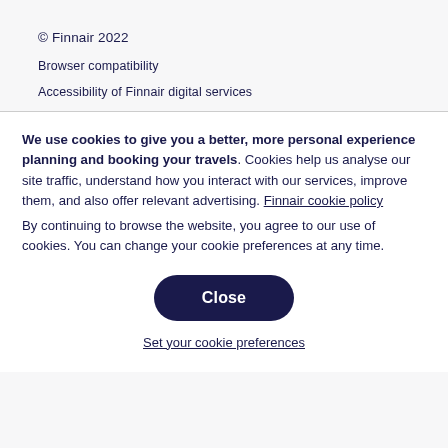© Finnair 2022
Browser compatibility
Accessibility of Finnair digital services
We use cookies to give you a better, more personal experience planning and booking your travels. Cookies help us analyse our site traffic, understand how you interact with our services, improve them, and also offer relevant advertising. Finnair cookie policy
By continuing to browse the website, you agree to our use of cookies. You can change your cookie preferences at any time.
Close
Set your cookie preferences